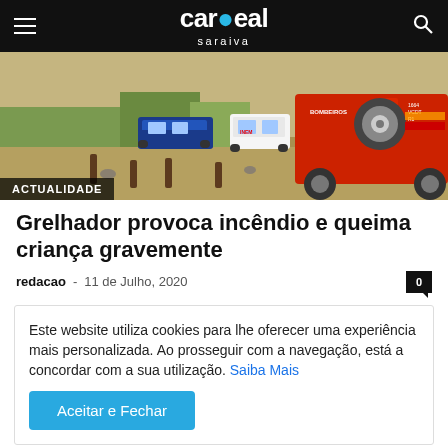cardeal saraiva
[Figure (photo): Red fire brigade 4x4 vehicle (Bombeiros) parked on dry grassland, police car in background]
ACTUALIDADE
Grelhador provoca incêndio e queima criança gravemente
redacao - 11 de Julho, 2020
Este website utiliza cookies para lhe oferecer uma experiência mais personalizada. Ao prosseguir com a navegação, está a concordar com a sua utilização. Saiba Mais
Aceitar e Fechar